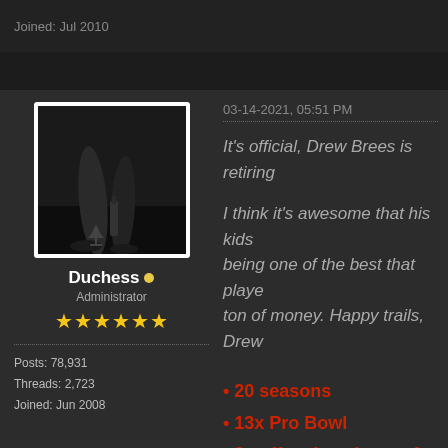Joined: Jul 2010
[Figure (photo): Black and white photo of a person's legs, with a wine glass and bottle on the floor]
Duchess • Administrator ★★★★★★ Posts: 78,931 Threads: 2,723 Joined: Jun 2008
03-14-2021, 05:51 PM
It's official, Drew Brees is retiring
I think it's awesome that his kids being one of the best that playe ton of money. Happy trails, Drew
20 seasons
13x Pro Bowl
2x offensive player of the year
Super Bowl Champ
Super Bowl MVP